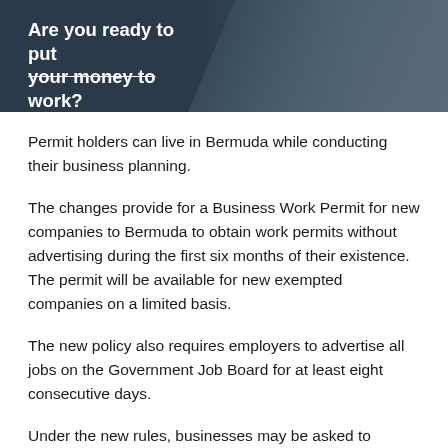[Figure (photo): Dark blue banner with text 'Are you ready to put your money to work?' in white bold font, with a partially visible person on the right side against a dark background.]
Permit holders can live in Bermuda while conducting their business planning.
The changes provide for a Business Work Permit for new companies to Bermuda to obtain work permits without advertising during the first six months of their existence. The permit will be available for new exempted companies on a limited basis.
The new policy also requires employers to advertise all jobs on the Government Job Board for at least eight consecutive days.
Under the new rules, businesses may be asked to participate in initiatives led by the National Training Board to boost the number of Bermudians employed in job categories where there are high numbers of work permit holders.
“It was about finding the right balance between assisting international business in getting the best employees they can in a competitive marketplace, while also ensuring that qualified Bermudians are given the opportunities we deserve,” Sen Fahy